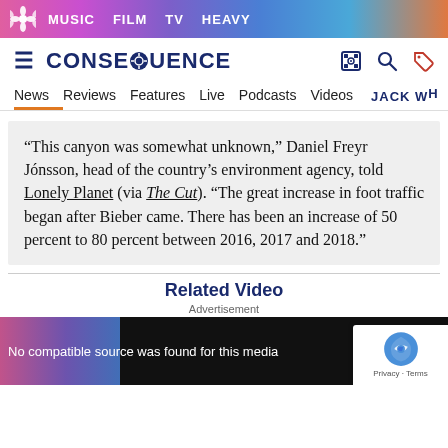MUSIC  FILM  TV  HEAVY
[Figure (logo): Consequence of Sound logo with hamburger menu and icons]
News  Reviews  Features  Live  Podcasts  Videos  JACK WH
“This canyon was somewhat unknown,” Daniel Freyr Jónsson, head of the country’s environment agency, told Lonely Planet (via The Cut). “The great increase in foot traffic began after Bieber came. There has been an increase of 50 percent to 80 percent between 2016, 2017 and 2018.”
Related Video
Advertisement
No compatible source was found for this media